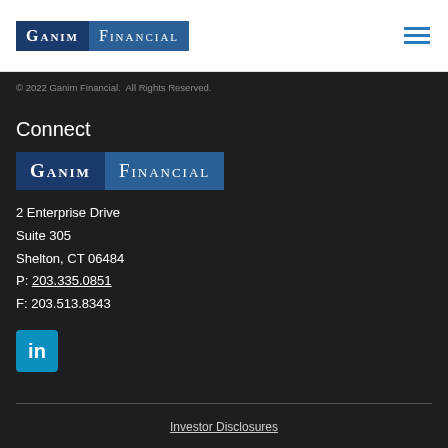[Figure (logo): Ganim Financial logo — dark blue left panel with GANIM in white small-caps, medium blue right panel with FINANCIAL in white small-caps]
[Figure (other): Hamburger menu icon — three horizontal teal/blue lines]
© 2022 Ganim Financial.  All Rights Reserved.
Connect
[Figure (logo): Ganim Financial logo (larger version) — dark blue left panel GANIM, medium blue right panel FINANCIAL]
2 Enterprise Drive
Suite 305
Shelton, CT 06484
P: 203.335.0851
F: 203.513.8343
[Figure (logo): LinkedIn icon — teal square with white 'in' text]
Investor Disclosures